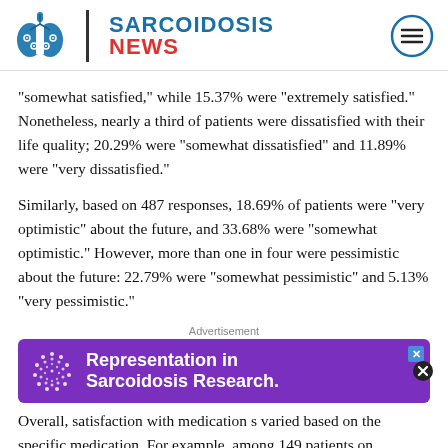SARCOIDOSIS NEWS
“somewhat satisfied,” while 15.37% were “extremely satisfied.” Nonetheless, nearly a third of patients were dissatisfied with their life quality; 20.29% were “somewhat dissatisfied” and 11.89% were “very dissatisfied.”
Similarly, based on 487 responses, 18.69% of patients were “very optimistic” about the future, and 33.68% were “somewhat optimistic.” However, more than one in four were pessimistic about the future: 22.79% were “somewhat pessimistic” and 5.13% “very pessimistic.”
Advertisement
[Figure (infographic): Purple advertisement banner for Representation in Sarcoidosis Research with dotted circular logo on left]
Overall, satisfaction with medications varied based on the specific medication. For example, among 149 patients on prednisone, 12%